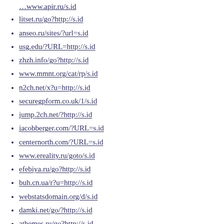litset.ru/go?http://s.id
anseo.ru/sites/?url=s.id
usg.edu/?URL=http://s.id
zhzh.info/go?http://s.id
www.mmnt.org/cat/rp/s.id
n2ch.net/x?u=http://s.id
securegpform.co.uk/1/s.id
jump.2ch.net/?http://s.id
jacobberger.com/?URL=s.id
centernorth.com/?URL=s.id
www.ereality.ru/goto/s.id
efebiya.ru/go?http://s.id
buh.cn.ua/r?u=http://s.id
webstatsdomain.org/d/s.id
damki.net/go/?http://s.id
athemes.ru/go?http://s.id
idli.st/go/?u=http://s.id
sc.devb.gov.hk/TuniS/s.id